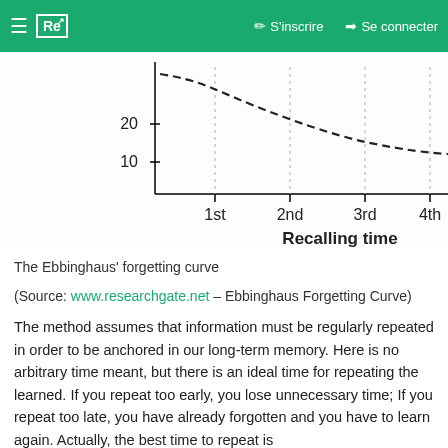Re S'inscrire Se connecter
[Figure (continuous-plot): Partial view of the Ebbinghaus forgetting curve graph showing a dashed declining curve. Y-axis labels visible: 20 and 10. X-axis labels: 1st, 2nd, 3rd, 4th. X-axis title: Recalling time.]
The Ebbinghaus' forgetting curve
(Source: www.researchgate.net – Ebbinghaus Forgetting Curve)
The method assumes that information must be regularly repeated in order to be anchored in our long-term memory. Here is no arbitrary time meant, but there is an ideal time for repeating the learned. If you repeat too early, you lose unnecessary time; If you repeat too late, you have already forgotten and you have to learn again. Actually, the best time to repeat is